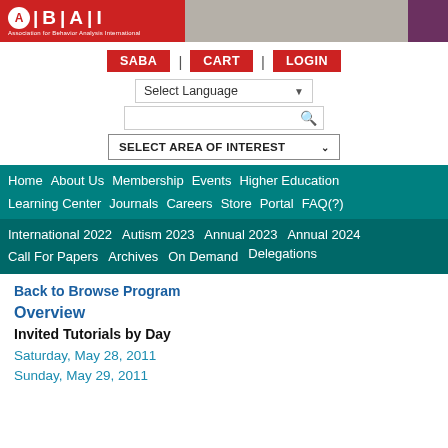[Figure (logo): ABAI - Association for Behavior Analysis International logo in red on white, with separator bars]
SABA | CART | LOGIN navigation buttons
Select Language
SELECT AREA OF INTEREST
Home  About Us  Membership  Events  Higher Education  Learning Center  Journals  Careers  Store  Portal  FAQ(?)
International 2022  Autism 2023  Annual 2023  Annual 2024  Call For Papers  Archives  On Demand  Delegations
Back to Browse Program
Overview
Invited Tutorials by Day
Saturday, May 28, 2011
Sunday, May 29, 2011